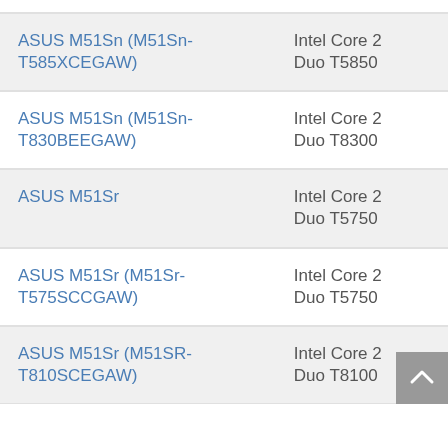| Model | CPU | Score |
| --- | --- | --- |
| ASUS M51Sn (M51Sn-T585XCEGAW) | Intel Core 2 Duo T5850 | 31% |
| ASUS M51Sn (M51Sn-T830BEEGAW) | Intel Core 2 Duo T8300 | 42% |
| ASUS M51Sr | Intel Core 2 Duo T5750 | 42% |
| ASUS M51Sr (M51Sr-T575SCCGAW) | Intel Core 2 Duo T5750 | 42% |
| ASUS M51Sr (M51SR-T810SCEGAW) | Intel Core 2 Duo T8100 | 52% |